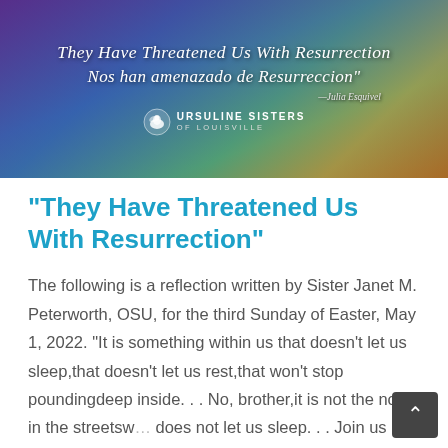[Figure (illustration): Banner image with colorful mystic background (purples, blues, greens, golds). Text reads: 'They Have Threatened Us With Resurrection / Nos han amenazado de Resurreccion' in italic script font. Attribution '—Julia Esquivel' at right. Ursuline Sisters of Louisville logo (dove icon with name) centered below.]
“They Have Threatened Us With Resurrection”
The following is a reflection written by Sister Janet M. Peterworth, OSU, for the third Sunday of Easter, May 1, 2022. “It is something within us that doesn’t let us sleep,that doesn’t let us rest,that won’t stop poundingdeep inside. . . No, brother,it is not the noise in the streets… does not let us sleep. . . Join us in this vigiland